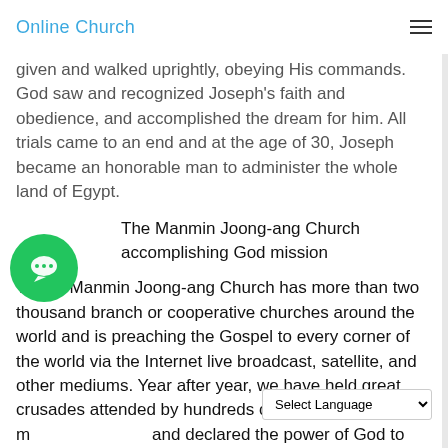Online Church
given and walked uprightly, obeying His commands. God saw and recognized Joseph's faith and obedience, and accomplished the dream for him. All trials came to an end and at the age of 30, Joseph became an honorable man to administer the whole land of Egypt.
The Manmin Joong-ang Church accomplishing God mission
Today, Manmin Joong-ang Church has more than two thousand branch or cooperative churches around the world and is preaching the Gospel to every corner of the world via the Internet live broadcast, satellite, and other mediums. Year after year, we have held great crusades attended by hundreds of thousands or millions of people and declared the power of God to nations all over